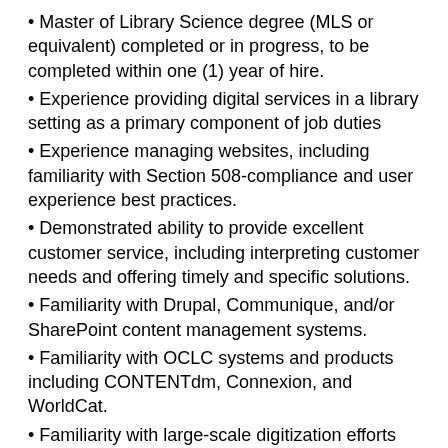Master of Library Science degree (MLS or equivalent) completed or in progress, to be completed within one (1) year of hire.
Experience providing digital services in a library setting as a primary component of job duties
Experience managing websites, including familiarity with Section 508-compliance and user experience best practices.
Demonstrated ability to provide excellent customer service, including interpreting customer needs and offering timely and specific solutions.
Familiarity with Drupal, Communique, and/or SharePoint content management systems.
Familiarity with OCLC systems and products including CONTENTdm, Connexion, and WorldCat.
Familiarity with large-scale digitization efforts and best practices.
Familiarity with establishing and/or maintaining an institutional repository.